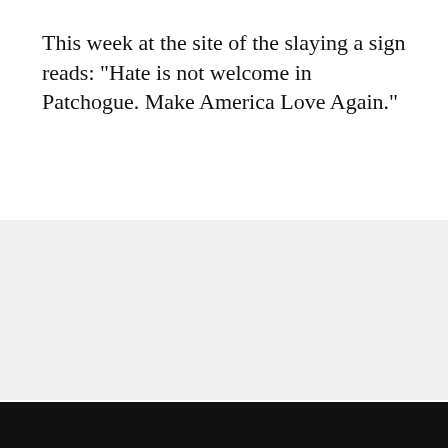This week at the site of the slaying a sign reads: "Hate is not welcome in Patchogue. Make America Love Again."
[Figure (photo): Gray placeholder image block]
"This is not a reality show, this is not a freaking game. These are real people, human beings with flesh and blood, and they do not deserve to be treated like animals," Rev. Allan Ramirez said.
"Donald Trump has attacked women, Muslims,